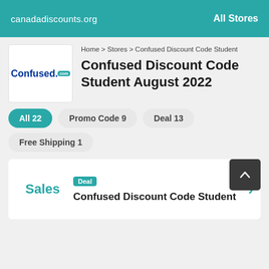canadadiscounts.org   All Stores
[Figure (logo): Confused.com logo in a white box]
Home > Stores > Confused Discount Code Student
Confused Discount Code Student August 2022
All 22
Promo Code 9
Deal 13
Free Shipping 1
Deal
Sales
Confused Discount Code Student